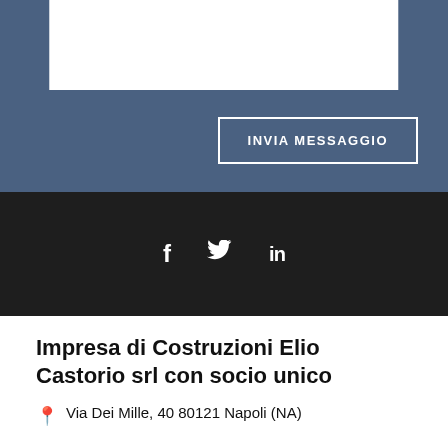[Figure (screenshot): Blue contact form section with a white textarea input and an 'INVIA MESSAGGIO' button with white border]
[Figure (infographic): Dark footer section with Facebook (f), Twitter (bird), and LinkedIn (in) social media icons in white]
Impresa di Costruzioni Elio Castorio srl con socio unico
Via Dei Mille, 40 80121 Napoli (NA)